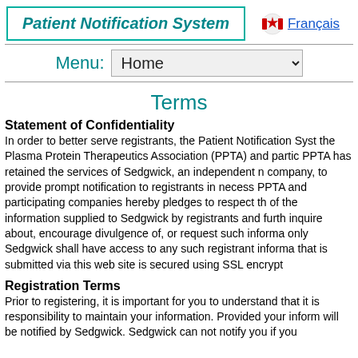Patient Notification System
Français
Menu: Home
Terms
Statement of Confidentiality
In order to better serve registrants, the Patient Notification System the Plasma Protein Therapeutics Association (PPTA) and partic PPTA has retained the services of Sedgwick, an independent n company, to provide prompt notification to registrants in necess PPTA and participating companies hereby pledges to respect th of the information supplied to Sedgwick by registrants and furth inquire about, encourage divulgence of, or request such informa only Sedgwick shall have access to any such registrant informa that is submitted via this web site is secured using SSL encrypt
Registration Terms
Prior to registering, it is important for you to understand that it is responsibility to maintain your information. Provided your inform will be notified by Sedgwick. Sedgwick can not notify you if you